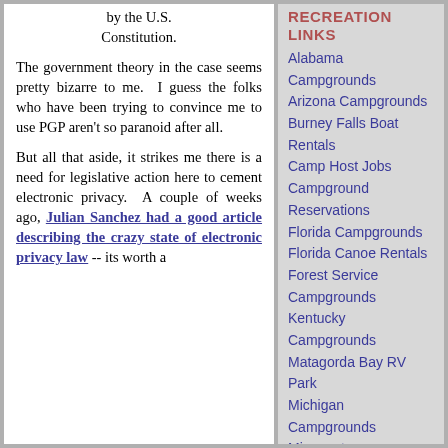by the U.S. Constitution.
The government theory in the case seems pretty bizarre to me.  I guess the folks who have been trying to convince me to use PGP aren't so paranoid after all.
But all that aside, it strikes me there is a need for legislative action here to cement electronic privacy.  A couple of weeks ago, Julian Sanchez had a good article describing the crazy state of electronic privacy law -- its worth a
RECREATION LINKS
Alabama Campgrounds
Arizona Campgrounds
Burney Falls Boat Rentals
Camp Host Jobs
Campground Reservations
Florida Campgrounds
Florida Canoe Rentals
Forest Service Campgrounds
Kentucky Campgrounds
Matagorda Bay RV Park
Michigan Campgrounds
Minnesota Campgrounds
New Mexico Campgrounds
Patagonia Lake Boat Rentals
Recreation News
Recreation.gov
Ruger Mini-14 Rifle Stabilizer
Snow Play and Sledding in Arizona
Texas Campgrounds
Texas Marina